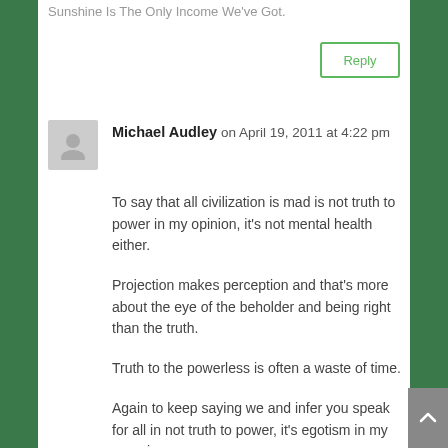Sunshine Is The Only Income We've Got.
Reply
Michael Audley on April 19, 2011 at 4:22 pm
To say that all civilization is mad is not truth to power in my opinion, it's not mental health either.
Projection makes perception and that's more about the eye of the beholder and being right than the truth.
Truth to the powerless is often a waste of time.
Again to keep saying we and infer you speak for all in not truth to power, it's egotism in my experience.